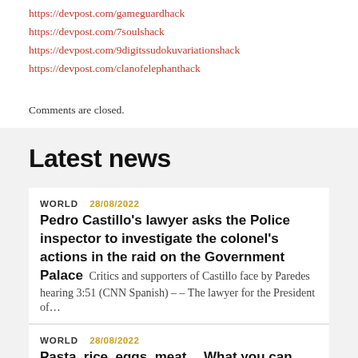https://devpost.com/gameguardhack
https://devpost.com/7soulshack
https://devpost.com/9digitssudokuvariationshack
https://devpost.com/clanofelephanthack
Comments are closed.
Latest news
WORLD  28/08/2022
Pedro Castillo's lawyer asks the Police inspector to investigate the colonel's actions in the raid on the Government Palace  Critics and supporters of Castillo face by Paredes hearing 3:51 (CNN Spanish) -- The lawyer for the President of...
WORLD  28/08/2022
Pasta, rice, eggs, meat… What you can now buy with vouchers at a Carrefour...